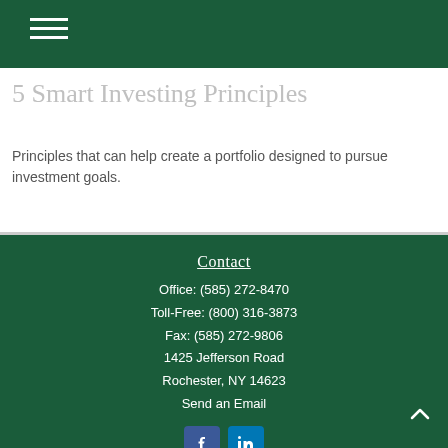5 Smart Investing Principles
Principles that can help create a portfolio designed to pursue investment goals.
Contact
Office: (585) 272-8470
Toll-Free: (800) 316-3873
Fax: (585) 272-9806
1425 Jefferson Road
Rochester, NY 14623
Send an Email